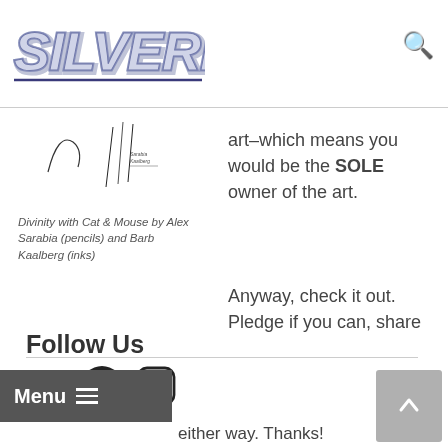[Figure (logo): Silverline logo — stylized italic text in blue/purple with double outline]
[Figure (illustration): Sketch artwork: Divinity with Cat & Mouse pencil and ink illustration]
Divinity with Cat & Mouse by Alex Sarabia (pencils) and Barb Kaalberg (inks)
art–which means you would be the SOLE owner of the art.
Anyway, check it out. Pledge if you can, share
either way. Thanks!
Leave a comment
Follow Us